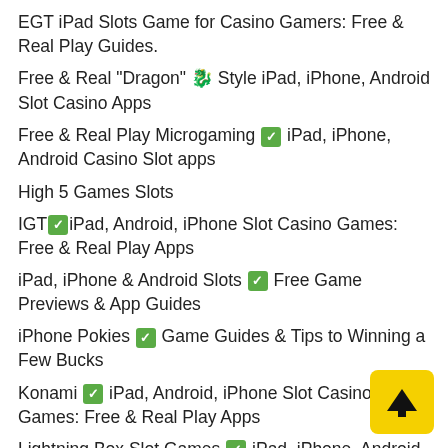EGT iPad Slots Game for Casino Gamers: Free & Real Play Guides.
Free & Real "Dragon" 🐉 Style iPad, iPhone, Android Slot Casino Apps
Free & Real Play Microgaming ✅ iPad, iPhone, Android Casino Slot apps
High 5 Games Slots
IGT✅iPad, Android, iPhone Slot Casino Games: Free & Real Play Apps
iPad, iPhone & Android Slots ✅ Free Game Previews & App Guides
iPhone Pokies ✅ Game Guides & Tips to Winning a Few Bucks
Konami ✅ iPad, Android, iPhone Slot Casino Games: Free & Real Play Apps
Lightning Box Slot Games ✅ iPad, iPhone, Android – Free & Real Play App Guides